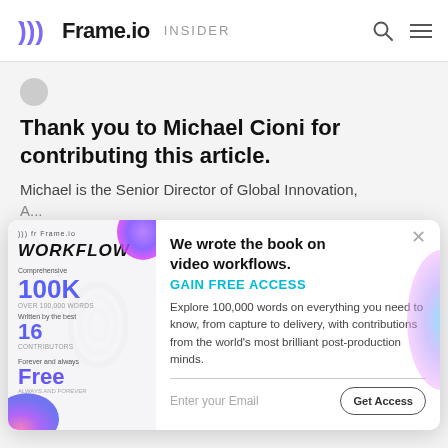Frame.io INSIDER
[Figure (logo): Frame.io Insider logo with sound wave icon, search icon, and hamburger menu]
Thank you to Michael Cioni for contributing this article.
Michael is the Senior Director of Global Innovation, A...
[Figure (infographic): Frame.io Workflow book promotional modal. Shows book cover with WORKFLOW title, 100K words, 16 contributors, Free. Right side: 'We wrote the book on video workflows. GAIN FREE ACCESS. Explore 100,000 words on everything you need to know, from capture to delivery, with contributions from the world's most brilliant post-production minds.' Email input and Get Access button.]